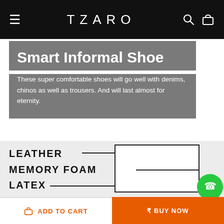TZARO
Smart Informal Shoe
These super comfortable shoes will go well with denims, chinos as well as trousers. And will last almost for eternity.
[Figure (infographic): Shoe layers infographic showing LEATHER, MEMORY FOAM, and LATEX labels with connecting lines to a shoe cross-section]
ADD TO CART
BUY NOW